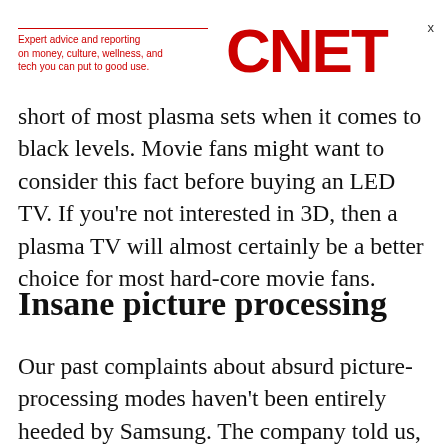Expert advice and reporting on money, culture, wellness, and tech you can put to good use. CNET
short of most plasma sets when it comes to black levels. Movie fans might want to consider this fact before buying an LED TV. If you're not interested in 3D, then a plasma TV will almost certainly be a better choice for most hard-core movie fans.
Insane picture processing
Our past complaints about absurd picture-processing modes haven't been entirely heeded by Samsung. The company told us, however, that, while reviewers hate its ultra-smooth picture modes, customers are